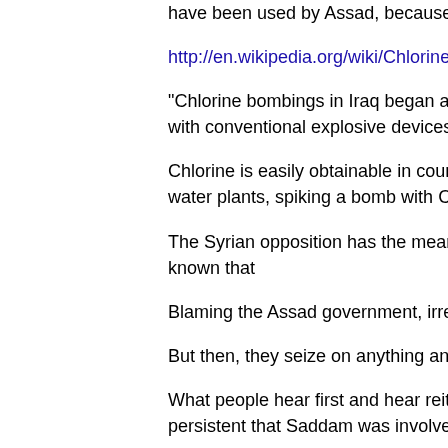have been used by Assad, because Assad has CW. Just as that capability. He wasn't and he isn't.
http://en.wikipedia.org/wiki/Chlorine_bombings_in_Iraq
"Chlorine bombings in Iraq began as early as October 2006, province started using chlorine gas in conjunction with conventional explosive devices."
Chlorine is easily obtainable in countries with a climate like S water purification. The Jihads have overrun a few water plants, spiking a bomb with Chlorine to just let off some gas cylinders
The Syrian opposition has the means (and low tech ones they a record of employing Chlorine as a weapon. It is known that
Blaming the Assad government, irrespective of any of that tha
But then, they seize on anything and try to pin it on Assad, the 'Be first and stay on message'. It's 'big lie' indeed.
What people hear first and hear reiterated afterwards, is at the people will keep in mind. How else to explain the persistent that Saddam was involved in 9/11?
He wasn't, but what does it matter - the meme served its purp